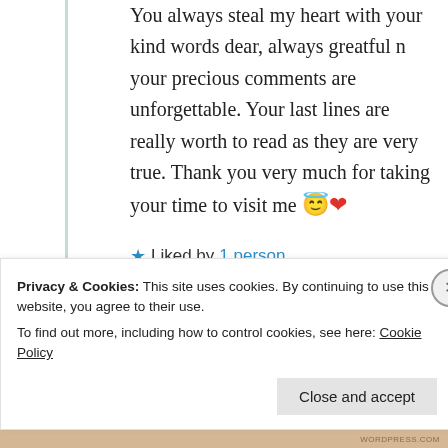You always steal my heart with your kind words dear, always greatful n your precious comments are unforgettable. Your last lines are really worth to read as they are very true. Thank you very much for taking your time to visit me 😇❤
★ Liked by 1 person
Log in to Reply
Privacy & Cookies: This site uses cookies. By continuing to use this website, you agree to their use. To find out more, including how to control cookies, see here: Cookie Policy
Close and accept